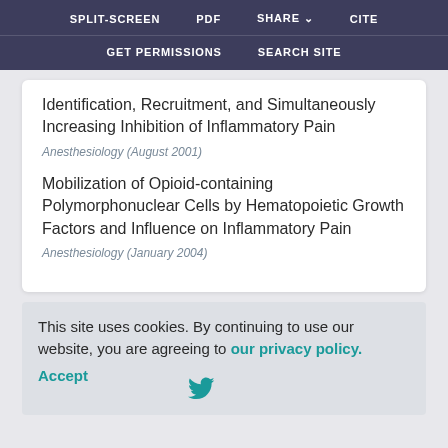SPLIT-SCREEN   PDF   SHARE   CITE   GET PERMISSIONS   SEARCH SITE
Identification, Recruitment, and Simultaneously Increasing Inhibition of Inflammatory Pain
Anesthesiology (August 2001)
Mobilization of Opioid-containing Polymorphonuclear Cells by Hematopoietic Growth Factors and Influence on Inflammatory Pain
Anesthesiology (January 2004)
This site uses cookies. By continuing to use our website, you are agreeing to our privacy policy. Accept